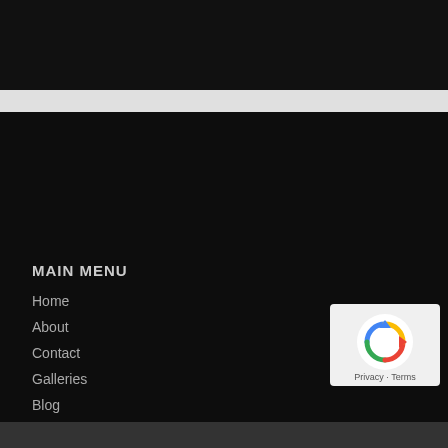[Figure (screenshot): Top black navigation bar area of a website]
MAIN MENU
Home
About
Contact
Galleries
Blog
LEGAL
Terms & Conditions
Help
[Figure (logo): reCAPTCHA badge with Privacy and Terms text]